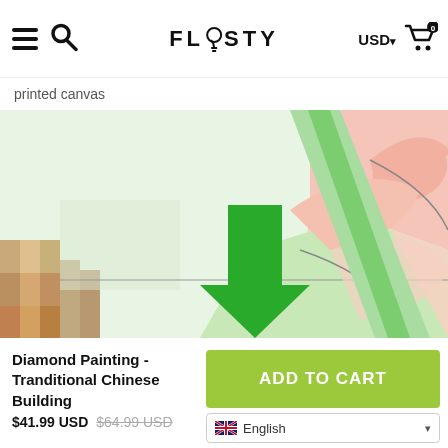FLOSTY — USD — Cart (0)
printed canvas
[Figure (illustration): Close-up of a diamond painting canvas showing abstract shapes: a large green diagonal stripe, pink teardrop/leaf shapes, light green triangular region, and a pixelated brown/tan mosaic section in the lower left. A bold green downward arrow overlays the center-left of the image.]
Diamond Painting - Tranditional Chinese Building
$41.99 USD $64.99 USD
ADD TO CART
English